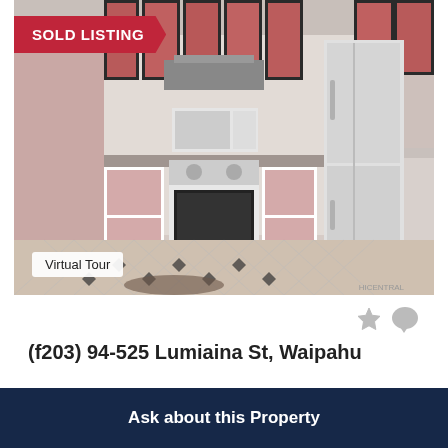[Figure (photo): Kitchen interior photo with pink cabinet doors, white appliances (stove, refrigerator, microwave), tile floor with diamond pattern, gray countertops, and overhead cabinets. 'SOLD LISTING' red banner in top-left and 'Virtual Tour' badge in bottom-left.]
(f203) 94-525 Lumiaina St, Waipahu
$420,000 Sold Price - 2 Beds, 1.00 Baths, 743 Sf
MLS® # 202213732
Ask about this Property